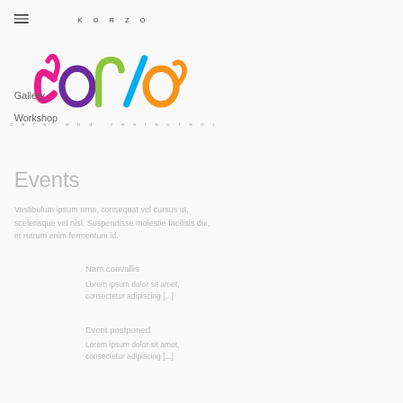KORZO
[Figure (logo): Korzo Corso cafe and restaurant colorful logo with letters in pink, purple, green, cyan, and orange]
Gallery
Workshop
Events
Vestibulum ipsum urna, consequat vel cursus ut, scelerisque vel nisl. Suspendisse molestie facilisis dui, et rutrum enim fermentum id.
Nam convallis
Lorem ipsum dolor sit amet, consectetur adipiscing [...]
Event postponed
Lorem ipsum dolor sit amet, consectetur adipiscing [...]